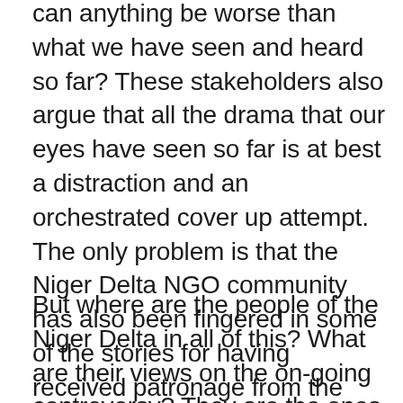can anything be worse than what we have seen and heard so far? These stakeholders also argue that all the drama that our eyes have seen so far is at best a distraction and an orchestrated cover up attempt. The only problem is that the Niger Delta NGO community has also been fingered in some of the stories for having received patronage from the NDDC for work not done. If indeed things get more curious, a list of beneficiary-NGOs may surface, and we may all get busy struggling to lift the veil. We should be watchful. A Professor slumped yesterday. Someone else could have a heart attack tomorrow!
But where are the people of the Niger Delta in all of this? What are their views on the on-going controversy? They are the ones who have been short-changed the most. The NDDC, originally OMPADEC, was